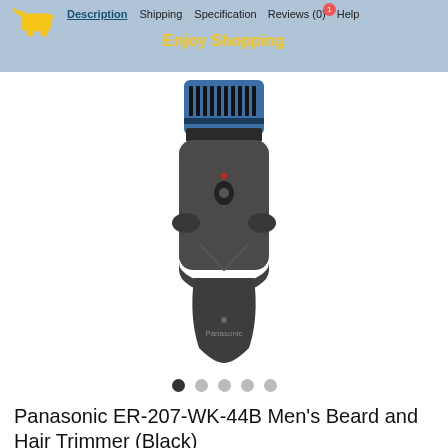Description  Shipping  Specification  Reviews (0)  Help  Enjoy Shopping
[Figure (photo): Panasonic ER-207-WK-44B Men's Beard and Hair Trimmer in black, shown from the front with blue/black comb attachment at top and Panasonic branding near bottom of handle]
● ○ ○ ○ ○
Panasonic ER-207-WK-44B Men's Beard and Hair Trimmer (Black)